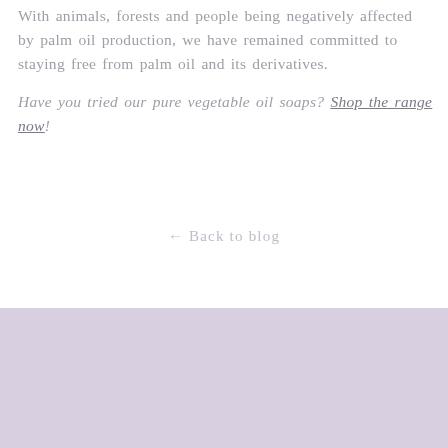With animals, forests and people being negatively affected by palm oil production, we have remained committed to staying free from palm oil and its derivatives.
Have you tried our pure vegetable oil soaps? Shop the range now!
← Back to blog
[Figure (illustration): Two stylized lavender/wheat plant illustrations with leaf/petal motifs, drawn in outline style on a lavender background]